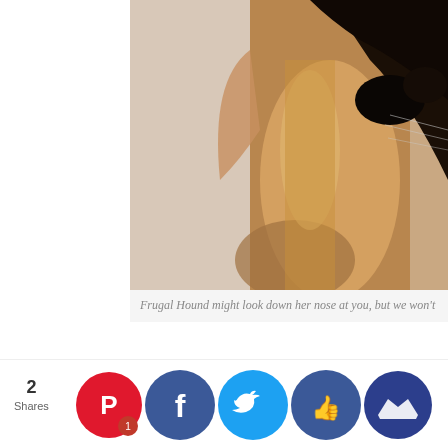[Figure (photo): Close-up photo of a dog's nose and head from below, a greyhound or similar breed, brown/tan coloring against a light background]
Frugal Hound might look down her nose at you, but we won't
fundamentally unique nature of everyone's personal financial journey, I don't believe in judging people for their money missteps. Sure, I like to give advice when solicited (and sometimes when I'm not...) and yes, I think plenty of folks throw money away on a regular basis, but I'm not quick to judge them.
I don't know their story and I don't know why they're struggling or ding a eir m in po on f ps.
to say I ew best? I 've been incre ily advant d and I kn